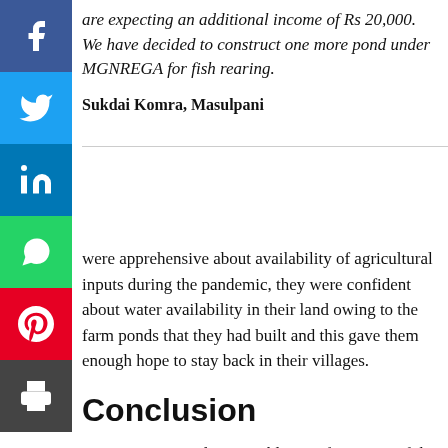are expecting an additional income of Rs 20,000. We have decided to construct one more pond under MGNREGA for fish rearing.
Sukdai Komra, Masulpani
were apprehensive about availability of agricultural inputs during the pandemic, they were confident about water availability in their land owing to the farm ponds that they had built and this gave them enough hope to stay back in their villages.
Conclusion
Augmentation and sustainable transformation of the living status of the villagers in terms of social